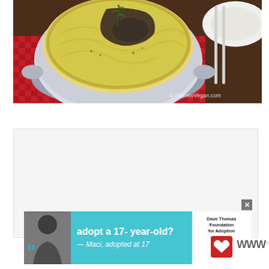[Figure (photo): A round white casserole dish with a golden mashed potato-topped bake (vegan shepherd's pie style). A portion has been scooped out revealing dark filling inside. A rosemary sprig garnishes the top. The dish sits on a red checkered cloth on a dark wooden table. Silverware is visible to the right. Watermark reads '© FatFreeVegan.com'. A white plate with a serving is partially visible top right.]
[Figure (photo): Advertisement banner: cyan/teal background. Left side shows a black-and-white photo of a teenage girl with large quotation marks. Text reads 'adopt a 17- year-old? — Maci, adopted at 17'. On the right is the Dave Thomas Foundation for Adoption logo with a red heart icon. An X close button appears top right of the ad. A 'W' logo with superscript circle appears to the far right outside the ad.]